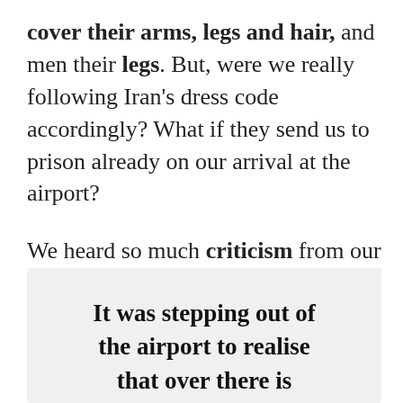cover their arms, legs and hair, and men their legs. But, were we really following Iran's dress code accordingly? What if they send us to prison already on our arrival at the airport?

We heard so much criticism from our families and friends for going to Iran that we started to question our decision to do so.
It was stepping out of the airport to realise that over there is nothing like people told us. We were, in fact, in